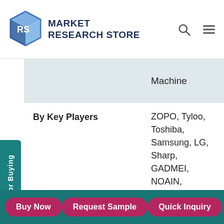Market Research Store
|  | Machine |
| By Key Players | ZOPO, Tyloo, Toshiba, Samsung, LG, Sharp, GADMEI, NOAIN, WOWFLY, Amazon, Lenovo, Estar, HTC, MAXON, Asus, Aigo, Benq |
| Regions Covered | North America, Europe, Asia |
Buy Now | Request Sample | Quick Inquiry